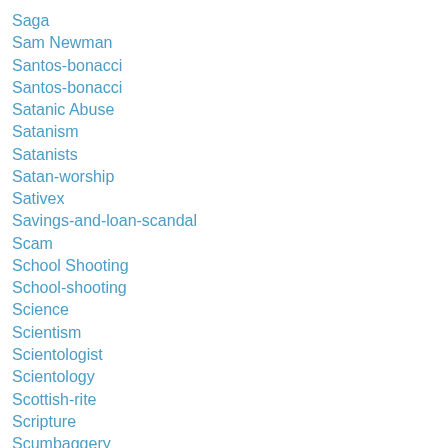Saga
Sam Newman
Santos-bonacci
Santos-bonacci
Satanic Abuse
Satanism
Satanists
Satan-worship
Sativex
Savings-and-loan-scandal
Scam
School Shooting
School-shooting
Science
Scientism
Scientologist
Scientology
Scottish-rite
Scripture
Scumbaggery